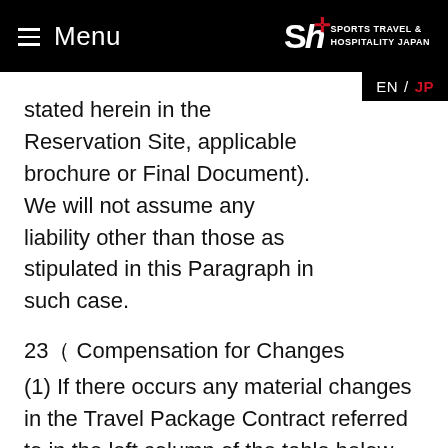Menu | SPORTS TRAVEL & HOSPITALITY JAPAN | EN / JP
stated herein in the Reservation Site, applicable brochure or Final Document). We will not assume any liability other than those as stipulated in this Paragraph in such case.
23（ Compensation for Changes
(1) If there occurs any material changes in the Travel Package Contract referred to in the left column of the table below (except changes referred to in （1（,（2（or（3（below), the Company shall pay the client the compensation for such change of an amount calculated by multiplying the Travel Package